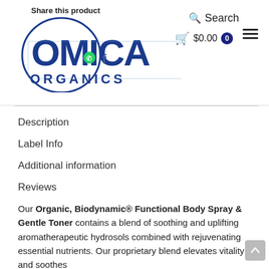Share this product | Omica Organics | Search | $0.00 0
Description
Label Info
Additional information
Reviews
Our Organic, Biodynamic® Functional Body Spray & Gentle Toner contains a blend of soothing and uplifting aromatherapeutic hydrosols combined with rejuvenating essential nutrients. Our proprietary blend elevates vitality and soothes